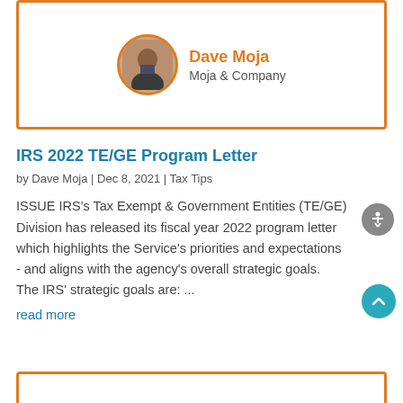[Figure (photo): Circular photo of Dave Moja with orange border, next to text showing 'Dave Moja' in orange and 'Moja & Company' in gray, inside an orange-bordered card]
IRS 2022 TE/GE Program Letter
by Dave Moja | Dec 8, 2021 | Tax Tips
ISSUE IRS's Tax Exempt & Government Entities (TE/GE) Division has released its fiscal year 2022 program letter which highlights the Service's priorities and expectations - and aligns with the agency's overall strategic goals.  The IRS' strategic goals are: ...
read more